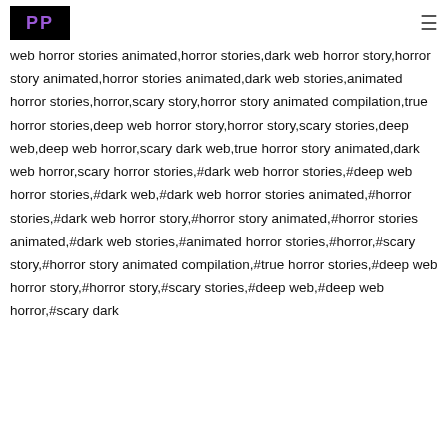PP (logo)
web horror stories animated,horror stories,dark web horror story,horror story animated,horror stories animated,dark web stories,animated horror stories,horror,scary story,horror story animated compilation,true horror stories,deep web horror story,horror story,scary stories,deep web,deep web horror,scary dark web,true horror story animated,dark web horror,scary horror stories,#dark web horror stories,#deep web horror stories,#dark web,#dark web horror stories animated,#horror stories,#dark web horror story,#horror story animated,#horror stories animated,#dark web stories,#animated horror stories,#horror,#scary story,#horror story animated compilation,#true horror stories,#deep web horror story,#horror story,#scary stories,#deep web,#deep web horror,#scary dark